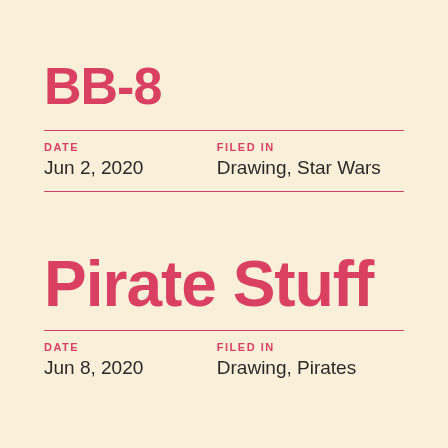BB-8
DATE: Jun 2, 2020 | FILED IN: Drawing, Star Wars
Pirate Stuff
DATE: Jun 8, 2020 | FILED IN: Drawing, Pirates